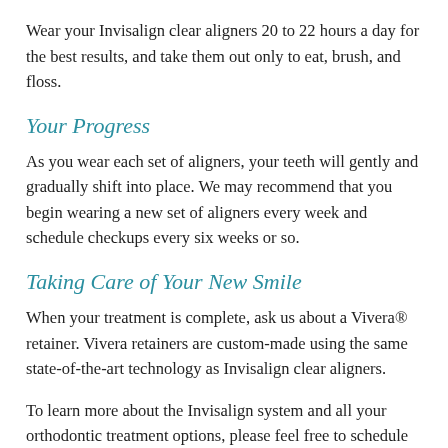Wear your Invisalign clear aligners 20 to 22 hours a day for the best results, and take them out only to eat, brush, and floss.
Your Progress
As you wear each set of aligners, your teeth will gently and gradually shift into place. We may recommend that you begin wearing a new set of aligners every week and schedule checkups every six weeks or so.
Taking Care of Your New Smile
When your treatment is complete, ask us about a Vivera® retainer. Vivera retainers are custom-made using the same state-of-the-art technology as Invisalign clear aligners.
To learn more about the Invisalign system and all your orthodontic treatment options, please feel free to schedule an